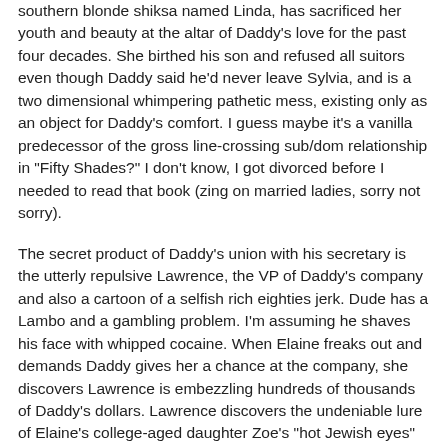southern blonde shiksa named Linda, has sacrificed her youth and beauty at the altar of Daddy's love for the past four decades.  She birthed his son and refused all suitors even though Daddy said he'd never leave Sylvia, and is a two dimensional whimpering pathetic mess, existing only as an object for Daddy's comfort.  I guess maybe it's a vanilla predecessor of the gross line-crossing sub/dom relationship in "Fifty Shades?"  I don't know, I got divorced before I needed to read that book (zing on married ladies, sorry not sorry).
The secret product of Daddy's union with his secretary is the utterly repulsive Lawrence, the VP of Daddy's company and also a cartoon of a selfish rich eighties jerk.  Dude has a Lambo and a gambling problem.  I'm assuming he shaves his face with whipped cocaine.  When Elaine freaks out and demands Daddy gives her a chance at the company, she discovers Lawrence is embezzling hundreds of thousands of Daddy's dollars.  Lawrence discovers the undeniable lure of Elaine's college-aged daughter Zoe's "hot Jewish eyes" and absconds with her to the Caribbean before everyone finds out Lawrence is actually Daddy's son and thus Zoe's uncle.